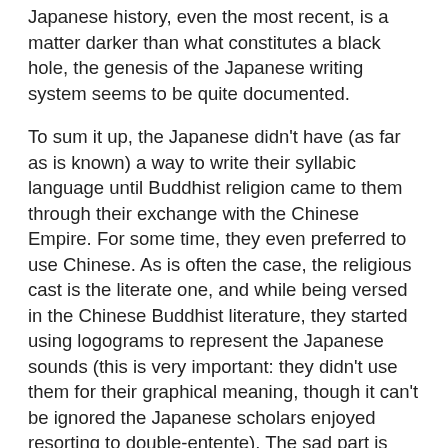Japanese history, even the most recent, is a matter darker than what constitutes a black hole, the genesis of the Japanese writing system seems to be quite documented.
To sum it up, the Japanese didn't have (as far as is known) a way to write their syllabic language until Buddhist religion came to them through their exchange with the Chinese Empire. For some time, they even preferred to use Chinese. As is often the case, the religious cast is the literate one, and while being versed in the Chinese Buddhist literature, they started using logograms to represent the Japanese sounds (this is very important: they didn't use them for their graphical meaning, though it can't be ignored the Japanese scholars enjoyed resorting to double-entente). The sad part is that any religious person would use their favourite pick in the Chinese array: the results weren't very intelligible, and to this day, those early Japanese texts are still open to interpretation as to how they should be read vocally, or even what they might mean more deeply.
A first normalization came, appointing a first try at standardizing the reading by selecting a few logograms for